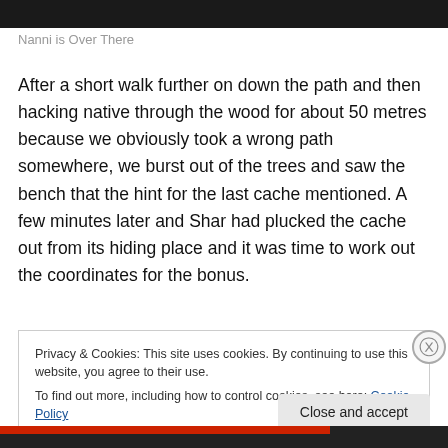[Figure (photo): Dark photo strip at the top of the page]
Nanni is Over There
After a short walk further on down the path and then hacking native through the wood for about 50 metres because we obviously took a wrong path somewhere, we burst out of the trees and saw the bench that the hint for the last cache mentioned. A few minutes later and Shar had plucked the cache out from its hiding place and it was time to work out the coordinates for the bonus.
Privacy & Cookies: This site uses cookies. By continuing to use this website, you agree to their use.
To find out more, including how to control cookies, see here: Cookie Policy
Close and accept